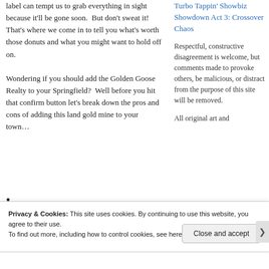label can tempt us to grab everything in sight because it'll be gone soon. But don't sweat it! That's where we come in to tell you what's worth those donuts and what you might want to hold off on.
Wondering if you should add the Golden Goose Realty to your Springfield? Well before you hit that confirm button let's break down the pros and cons of adding this land gold mine to your town…
•
Turbo Tappin' Showbiz Showdown Act 3: Crossover Chaos
Respectful, constructive disagreement is welcome, but comments made to provoke others, be malicious, or distract from the purpose of this site will be removed.
All original art and
Privacy & Cookies: This site uses cookies. By continuing to use this website, you agree to their use. To find out more, including how to control cookies, see here: Cookie Policy
Close and accept